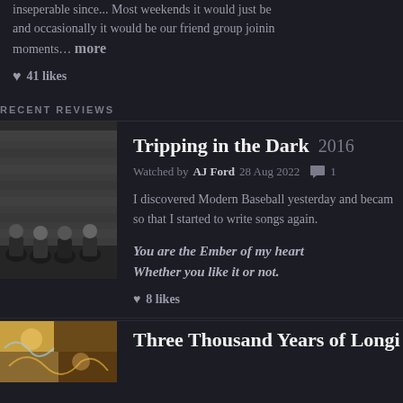inseperable since... Most weekends it would just be and occasionally it would be our friend group joinin moments... more
♥ 41 likes
RECENT REVIEWS
[Figure (photo): Band photo of Modern Baseball members sitting on steps in front of a brick wall]
Tripping in the Dark  2016
Watched by AJ Ford  28 Aug 2022  💬1
I discovered Modern Baseball yesterday and became so that I started to write songs again.
You are the Ember of my heart
Whether you like it or not.
♥ 8 likes
[Figure (photo): Colorful illustrated movie poster thumbnail at bottom left]
Three Thousand Years of Longing